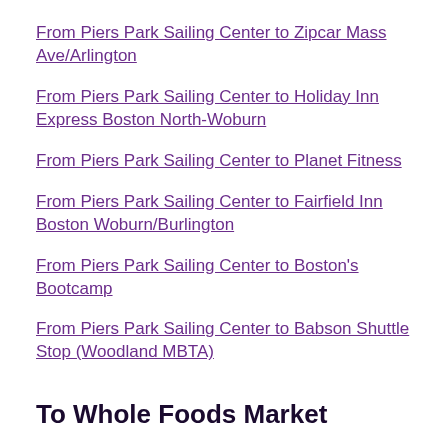From Piers Park Sailing Center to Zipcar Mass Ave/Arlington
From Piers Park Sailing Center to Holiday Inn Express Boston North-Woburn
From Piers Park Sailing Center to Planet Fitness
From Piers Park Sailing Center to Fairfield Inn Boston Woburn/Burlington
From Piers Park Sailing Center to Boston's Bootcamp
From Piers Park Sailing Center to Babson Shuttle Stop (Woodland MBTA)
To Whole Foods Market